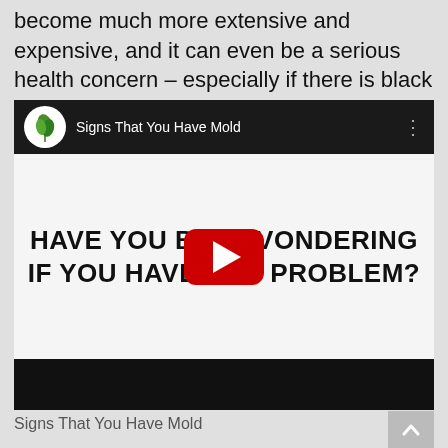become much more extensive and expensive, and it can even be a serious health concern – especially if there is black or toxic mold present!
[Figure (screenshot): YouTube video embed showing a video titled 'Signs That You Have Mold' with a thumbnail that reads 'HAVE YOU BEEN WONDERING IF YOU HAVE A MOLD PROBLEM?' with a red YouTube play button overlay.]
Signs That You Have Mold